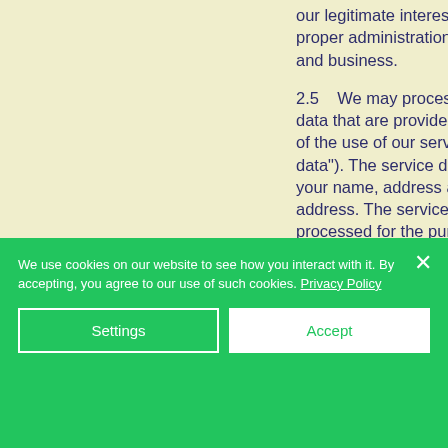our legitimate interests, namely the proper administration of our website and business.
2.5    We may process your personal data that are provided in the course of the use of our services ("service data"). The service data may include your name, address and email address. The service data may be processed for the purposes of operating our website, providing
We use cookies on our website to see how you interact with it. By accepting, you agree to our use of such cookies. Privacy Policy